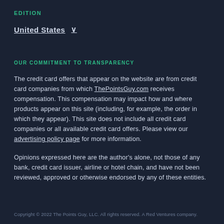EDITION
United States ∨
OUR COMMITMENT TO TRANSPARENCY
The credit card offers that appear on the website are from credit card companies from which ThePointsGuy.com receives compensation. This compensation may impact how and where products appear on this site (including, for example, the order in which they appear). This site does not include all credit card companies or all available credit card offers. Please view our advertising policy page for more information.
Opinions expressed here are the author's alone, not those of any bank, credit card issuer, airline or hotel chain, and have not been reviewed, approved or otherwise endorsed by any of these entities.
Copyright © 2022 The Points Guy, LLC. All rights reserved. A Red Ventures company.